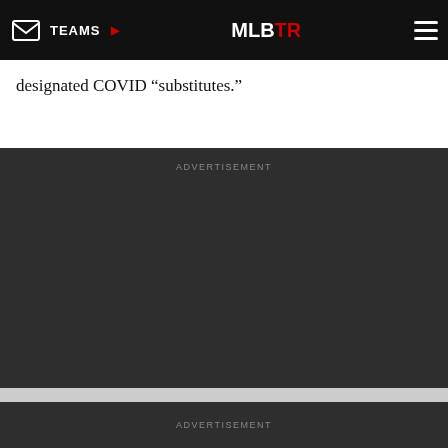TEAMS | MLBTR
designated COVID “substitutes.”
ADVERTISEMENT
ADVERTISEMENT